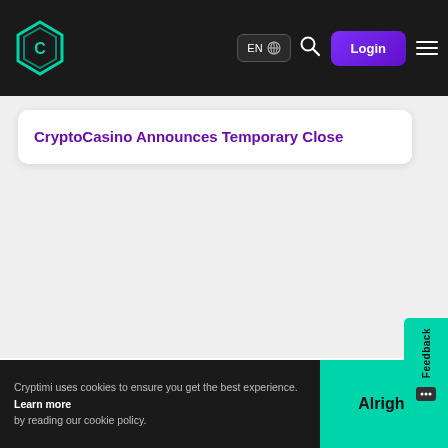CryptoCasino — EN | Login | menu
CryptoCasino Announces Temporary Close
Feedback
Cryptimi uses cookies to ensure you get the best experience. Learn more by reading our cookie policy. | Alright